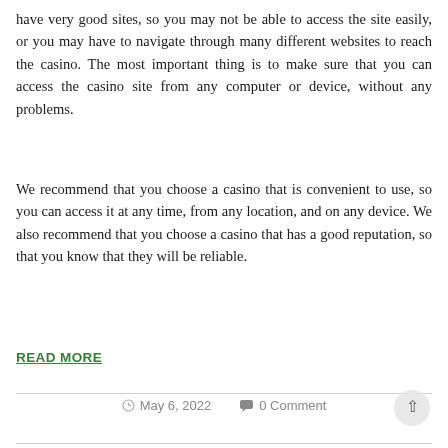have very good sites, so you may not be able to access the site easily, or you may have to navigate through many different websites to reach the casino. The most important thing is to make sure that you can access the casino site from any computer or device, without any problems.
We recommend that you choose a casino that is convenient to use, so you can access it at any time, from any location, and on any device. We also recommend that you choose a casino that has a good reputation, so that you know that they will be reliable.
READ MORE
© May 6, 2022   💬 0 Comment